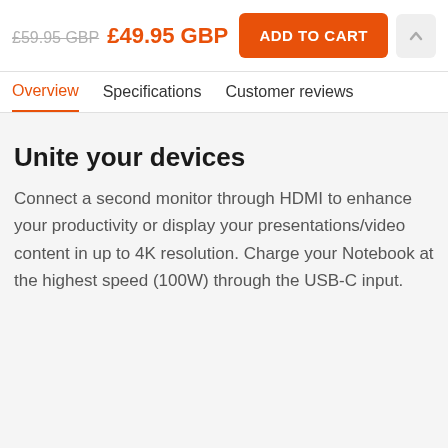£59.95 GBP £49.95 GBP ADD TO CART
Overview Specifications Customer reviews
Unite your devices
Connect a second monitor through HDMI to enhance your productivity or display your presentations/video content in up to 4K resolution. Charge your Notebook at the highest speed (100W) through the USB-C input.